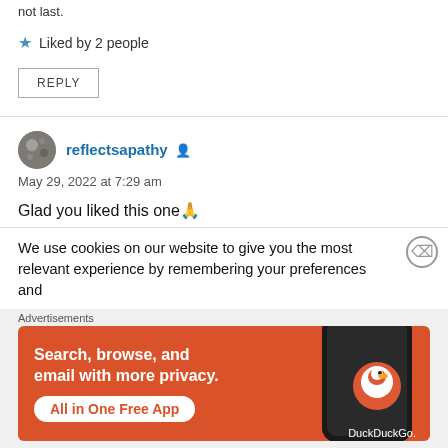not last.
Liked by 2 people
REPLY
reflectsapathy
May 29, 2022 at 7:29 am
Glad you liked this one 🙏
We use cookies on our website to give you the most relevant experience by remembering your preferences and
Advertisements
[Figure (screenshot): DuckDuckGo advertisement banner: orange background with text 'Search, browse, and email with more privacy. All in One Free App' and DuckDuckGo logo on a smartphone image]